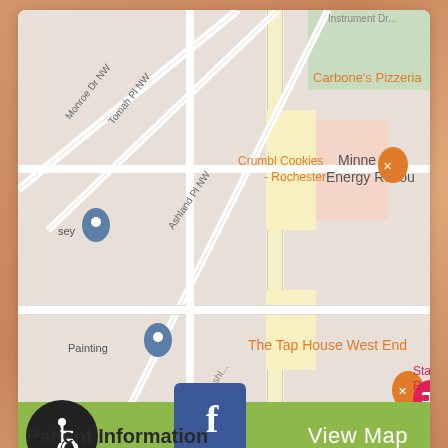[Figure (map): Google Maps screenshot showing Rochester area with location pins. Orange pins for Carbone's Pizzeria, Crumbl Cookies - Rochester, and The Tap House West End (restaurant icons). Gray location pins for two unnamed spots. Pink pin for Stayb Roche (hotel). Street labels include Monroe Dr NW, Tomah Pl NW, Ashland Pl NW. Right side shows Minne Energy Resou text. Green 'View Map' button at bottom of map card.]
[Figure (logo): Facebook logo icon - blue square with white lowercase 'f']
[Figure (infographic): Accessibility icon - white wheelchair symbol on black circle background]
Patient Information